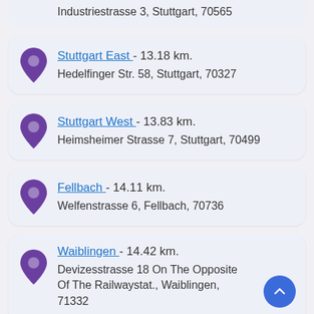Stuttgart East - 13.18 km. Hedelfinger Str. 58, Stuttgart, 70327
Stuttgart West - 13.83 km. Heimsheimer Strasse 7, Stuttgart, 70499
Fellbach - 14.11 km. Welfenstrasse 6, Fellbach, 70736
Waiblingen - 14.42 km. Devizesstrasse 18 On The Opposite Of The Railwaystat., Waiblingen, 71332